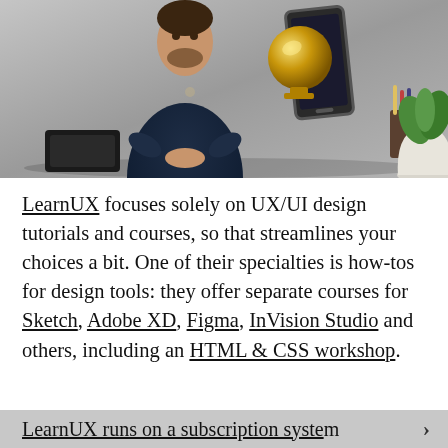[Figure (photo): A man in a dark navy t-shirt standing in front of a styled background with a tablet/phone, a gold trophy/ball, a pencil holder, and a white plant pot. The background is grey/neutral.]
LearnUX focuses solely on UX/UI design tutorials and courses, so that streamlines your choices a bit. One of their specialties is how-tos for design tools: they offer separate courses for Sketch, Adobe XD, Figma, InVision Studio and others, including an HTML & CSS workshop.
LearnUX runs on a subscription system.